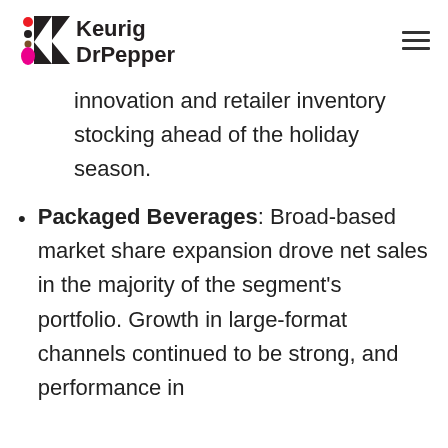Keurig DrPepper
innovation and retailer inventory stocking ahead of the holiday season.
Packaged Beverages: Broad-based market share expansion drove net sales in the majority of the segment's portfolio. Growth in large-format channels continued to be strong, and performance in